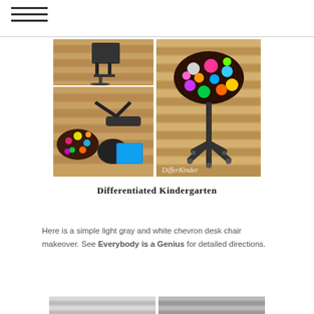≡ (hamburger menu icon)
[Figure (photo): Four-panel photo collage showing a chair makeover project: top-left shows a plain office chair, bottom-left shows disassembled chair parts with colorful polka-dot fabric and tools on a wood deck, right side shows the finished chair with a colorful polka-dot fabric seat cover. Watermark reads 'DifferKinder'.]
Differentiated Kindergarten
Here is a simple light gray and white chevron desk chair makeover. See Everybody is a Genius for detailed directions.
[Figure (photo): Partial view of two photos at the bottom of the page, likely showing more chair makeover examples.]